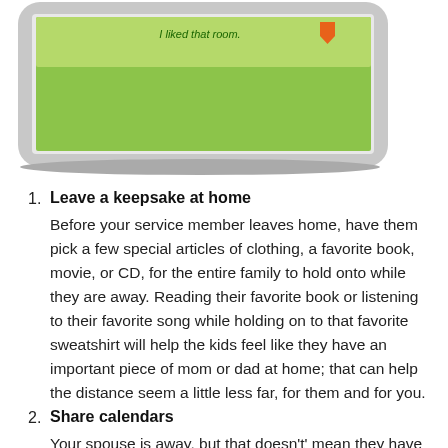[Figure (photo): A tablet or digital frame device with a green screen showing text 'I liked that room' and an orange icon, photographed at an angle on a white background.]
Leave a keepsake at home
Before your service member leaves home, have them pick a few special articles of clothing, a favorite book, movie, or CD, for the entire family to hold onto while they are away. Reading their favorite book or listening to their favorite song while holding on to that favorite sweatshirt will help the kids feel like they have an important piece of mom or dad at home; that can help the distance seem a little less far, for them and for you.
Share calendars
Your spouse is away, but that doesn't' mean they have